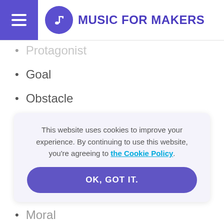MUSIC FOR MAKERS
Protagonist
Goal
Obstacle
Conflict
Mentor
This website uses cookies to improve your experience. By continuing to use this website, you're agreeing to the Cookie Policy.
Moral